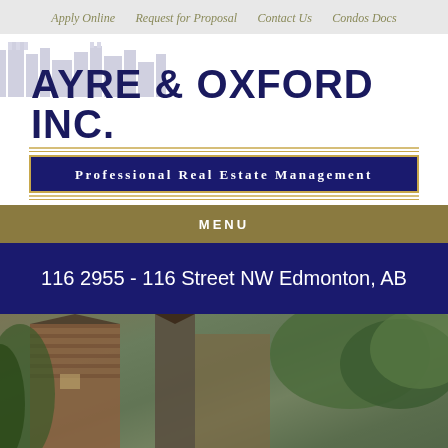Apply Online   Request for Proposal   Contact Us   Condos Docs
[Figure (logo): Ayre & Oxford Inc. logo with city skyline silhouette background and 'Professional Real Estate Management' tagline on navy banner]
MENU
116 2955 - 116 Street NW Edmonton, AB
[Figure (photo): Exterior photo of a residential or commercial building with trees and wooden siding]